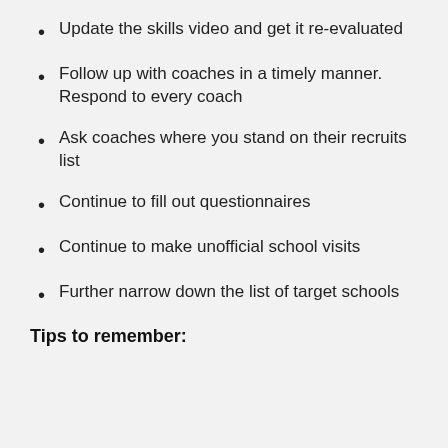Update the skills video and get it re-evaluated
Follow up with coaches in a timely manner. Respond to every coach
Ask coaches where you stand on their recruits list
Continue to fill out questionnaires
Continue to make unofficial school visits
Further narrow down the list of target schools
Tips to remember: